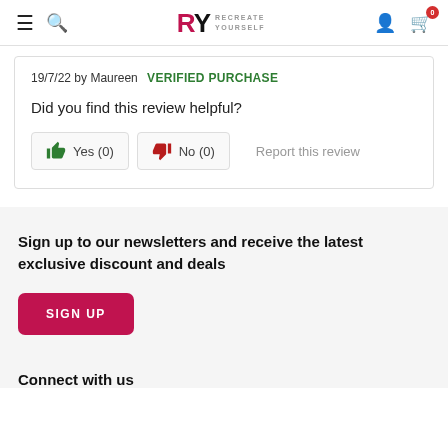RY RECREATE YOURSELF — navigation header with hamburger, search, logo, user icon, cart (0)
19/7/22 by Maureen  VERIFIED PURCHASE
Did you find this review helpful?
Yes (0)  No (0)  Report this review
Sign up to our newsletters and receive the latest exclusive discount and deals
SIGN UP
Connect with us